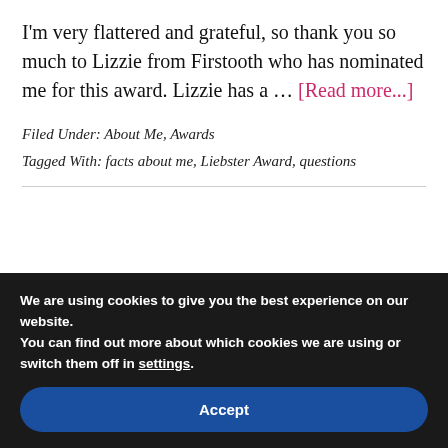I'm very flattered and grateful, so thank you so much to Lizzie from Firstooth who has nominated me for this award. Lizzie has a ... [Read more...]
Filed Under: About Me, Awards
Tagged With: facts about me, Liebster Award, questions
We are using cookies to give you the best experience on our website.
You can find out more about which cookies we are using or switch them off in settings.
Accept